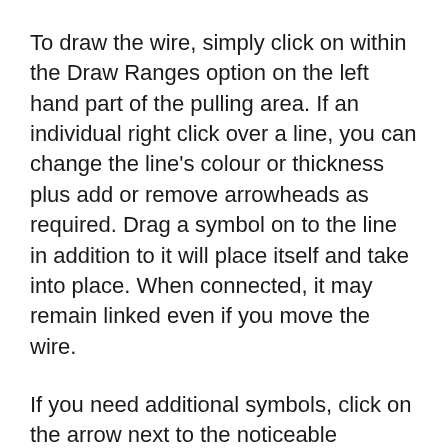To draw the wire, simply click on within the Draw Ranges option on the left hand part of the pulling area. If an individual right click over a line, you can change the line's colour or thickness plus add or remove arrowheads as required. Drag a symbol on to the line in addition to it will place itself and take into place. When connected, it may remain linked even if you move the wire.
If you need additional symbols, click on the arrow next to the noticeable collection to bring upwards a fall food selection and select More. You'll be capable to search regarding additional symbols in addition to open any appropriate libraries.